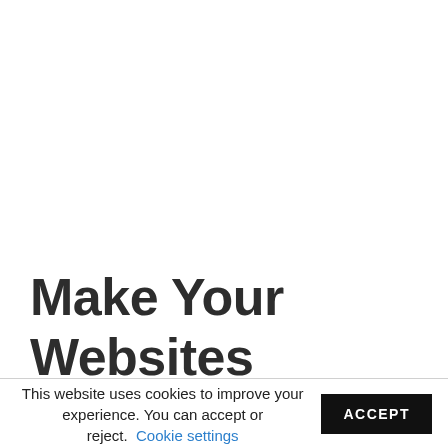Make Your Websites Highly Responsive
This website uses cookies to improve your experience. You can accept or reject. Cookie settings ACCEPT